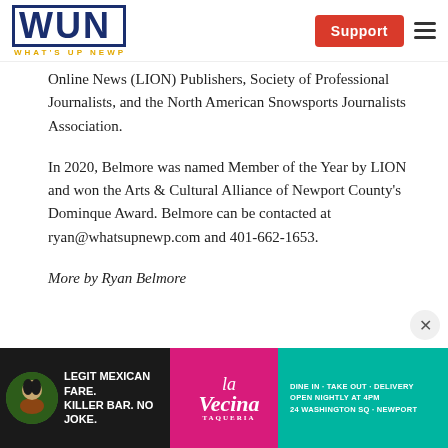WUN WHAT'S UP NEWP | Support
Online News (LION) Publishers, Society of Professional Journalists, and the North American Snowsports Journalists Association.
In 2020, Belmore was named Member of the Year by LION and won the Arts & Cultural Alliance of Newport County's Dominque Award. Belmore can be contacted at ryan@whatsupnewp.com and 401-662-1653.
More by Ryan Belmore
[Figure (screenshot): La Vecina taqueria advertisement banner: dark background with 'LEGIT MEXICAN FARE. KILLER BAR. NO JOKE.' text, La Vecina logo in the middle, and contact info on the right.]